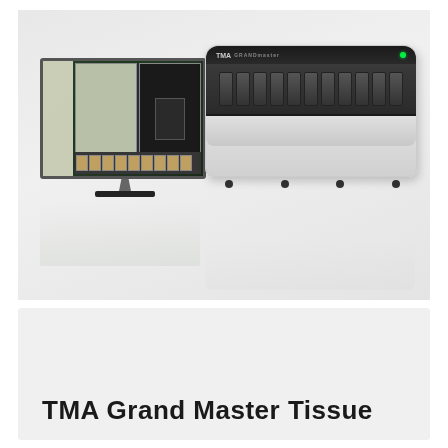[Figure (photo): TMA Grand Master tissue microarray instrument with a computer monitor displaying TMA software interface showing grid arrays, alongside a white box-shaped TMA GRANDmaster reader/scanner device with dark control panel and multiple sample slots.]
TMA Grand Master Tissue